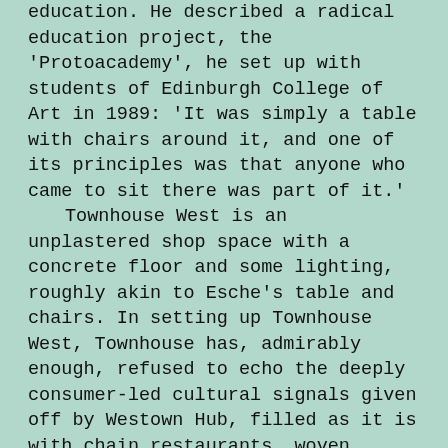education. He described a radical education project, the 'Protoacademy', he set up with students of Edinburgh College of Art in 1989: 'It was simply a table with chairs around it, and one of its principles was that anyone who came to sit there was part of it.' Townhouse West is an unplastered shop space with a concrete floor and some lighting, roughly akin to Esche's table and chairs. In setting up Townhouse West, Townhouse has, admirably enough, refused to echo the deeply consumer-led cultural signals given off by Westown Hub, filled as it is with chain restaurants, woven plastic garden chairs and obsequious maitres d'. This backdrop, I think, explains the curatorial determination, however hamstrung by these conditions, to confront Egypt's rich with the beautiful detritus of Egypt's poor. But we are missing one key detail of Esche's formula: 'anyone who came to sit there was part of it.' The taxi driver who brought me to Westown was asked to surrender his ID at the